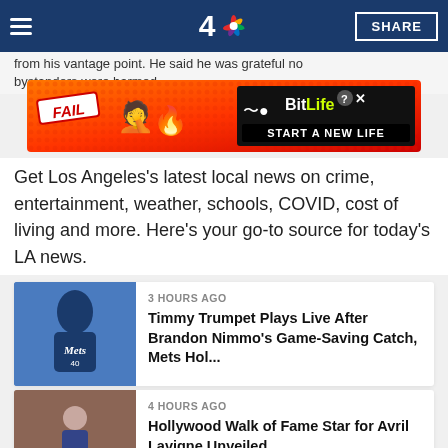NBC 4 Los Angeles — SHARE
from his vantage point. He said he was grateful no bystanders were harmed.
[Figure (screenshot): BitLife advertisement banner: FAIL text with cartoon emoji, BitLife logo and START A NEW LIFE text on dark background]
Get Los Angeles's latest local news on crime, entertainment, weather, schools, COVID, cost of living and more. Here's your go-to source for today's LA news.
3 HOURS AGO
Timmy Trumpet Plays Live After Brandon Nimmo's Game-Saving Catch, Mets Hol...
4 HOURS AGO
Hollywood Walk of Fame Star for Avril Lavigne Unveiled
The Los Angeles Police Department and Los Angeles County Sheriff's Department were assisting in the investigation.